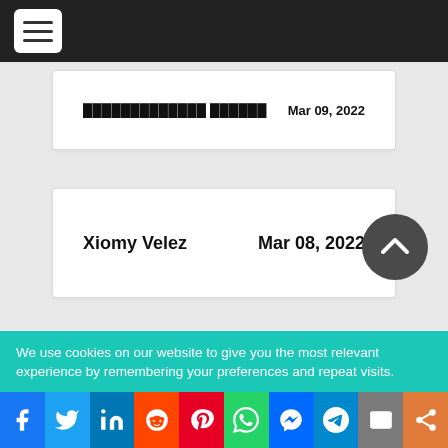Navigation menu
Mar 09, 2022
Xiomy Velez   Mar 08, 2022
James McVey   Mar 07,
We use cookies on our website to give you the most relevant experience by remembering your preferences and repeat visits.